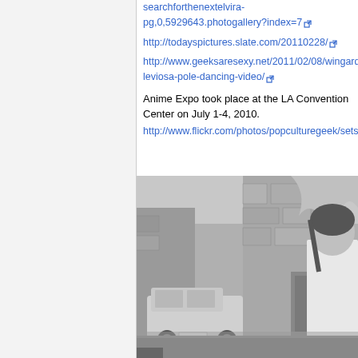searchforthenextelvira-pg,0,5929643.photogallery?index=7
http://todayspictures.slate.com/20110228/
http://www.geeksaresexy.net/2011/02/08/wingardileviosa-pole-dancing-video/
Anime Expo took place at the LA Convention Center on July 1-4, 2010.
http://www.flickr.com/photos/popculturegeek/sets/
[Figure (photo): Black and white photograph showing two people in a stone alleyway with an old car in the background. A man in dark clothing stands on the left, and a woman in a white top is visible on the right edge.]